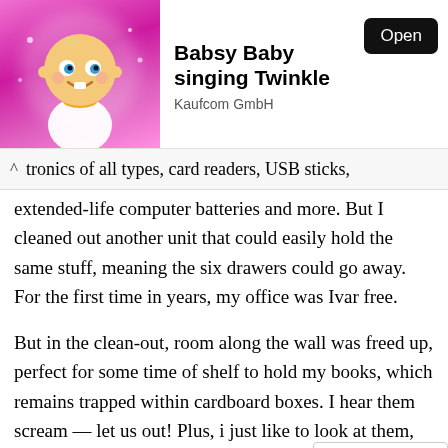[Figure (screenshot): App store banner showing Babsy Baby singing Twinkle app by Kaufcom GmbH with animated baby character on pink background and Open button]
tronics of all types, card readers, USB sticks, extended-life computer batteries and more. But I cleaned out another unit that could easily hold the same stuff, meaning the six drawers could go away. For the first time in years, my office was Ivar free.
But in the clean-out, room along the wall was freed up, perfect for some time of shelf to hold my books, which remains trapped within cardboard boxes. I hear them scream — let us out! Plus, i just like to look at them, my friends acquired over the years from being a kid. Needing a solution of some time, it was time for a trip back to Ikea. I hesitated in considering Ivar, knowing that almost like a ch be gaining a new piece of furniture for life no...